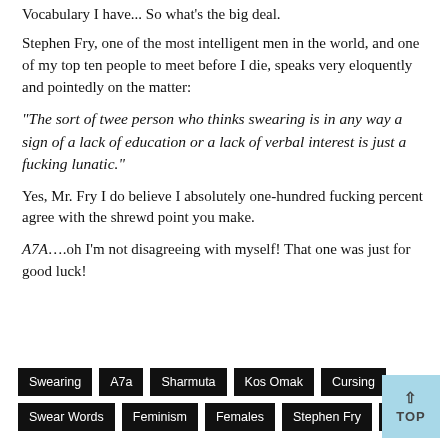Vocabulary I have... So what's the big deal.
Stephen Fry, one of the most intelligent men in the world, and one of my top ten people to meet before I die, speaks very eloquently and pointedly on the matter:
“The sort of twee person who thinks swearing is in any way a sign of a lack of education or a lack of verbal interest is just a fucking lunatic.”
Yes, Mr. Fry I do believe I absolutely one-hundred fucking percent agree with the shrewd point you make.
A7A….oh I’m not disagreeing with myself! That one was just for good luck!
Swearing
A7a
Sharmuta
Kos Omak
Cursing
Swear Words
Feminism
Females
Stephen Fry
Arabic